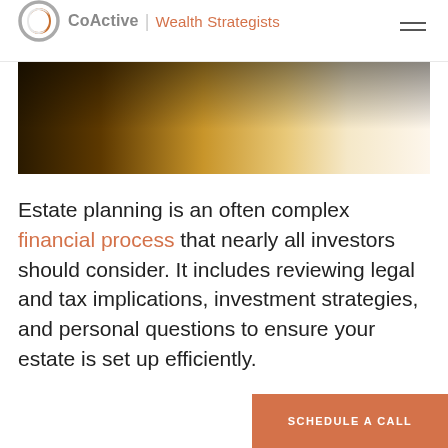CoActive | Wealth Strategists
[Figure (photo): Decorative hero image with warm golden/brown gradient tones fading from dark left to light cream right]
Estate planning is an often complex financial process that nearly all investors should consider. It includes reviewing legal and tax implications, investment strategies, and personal questions to ensure your estate is set up efficiently.
SCHEDULE A CALL